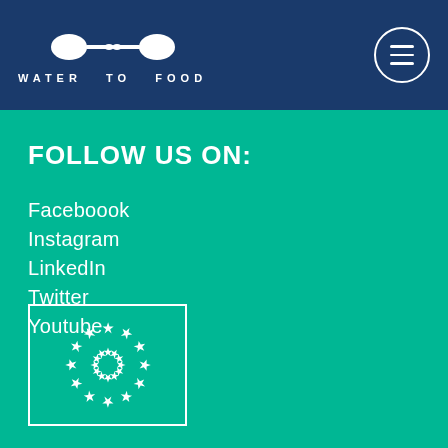[Figure (logo): Water to Food logo with two spoon shapes and text 'WATER TO FOOD' below]
[Figure (other): Hamburger menu button (three horizontal lines in a circle) in top right corner]
FOLLOW US ON:
Faceboook
Instagram
LinkedIn
Twitter
Youtube
[Figure (logo): European Union flag logo: circle of 12 white stars on teal/green background inside a white rectangular border]